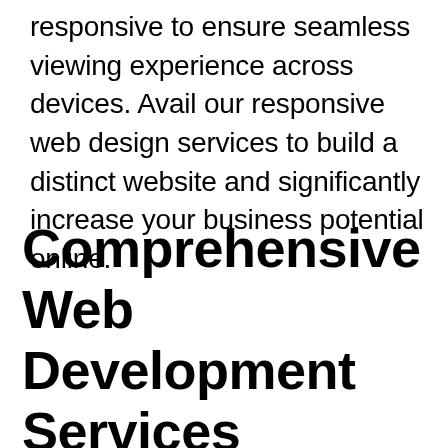responsive to ensure seamless viewing experience across devices. Avail our responsive web design services to build a distinct website and significantly increase your business potential online.
Comprehensive Web Development Services Paterson, New Jersey